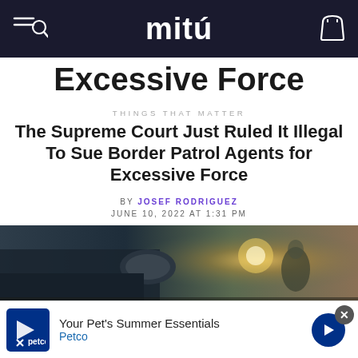mitú
Excessive Force
THINGS THAT MATTER
The Supreme Court Just Ruled It Illegal To Sue Border Patrol Agents for Excessive Force
BY JOSEF RODRIGUEZ
JUNE 10, 2022 AT 1:31 PM
[Figure (photo): Outdoor photo showing close-up of vehicle mirror with bright backlight and figure in background]
Your Pet's Summer Essentials Petco